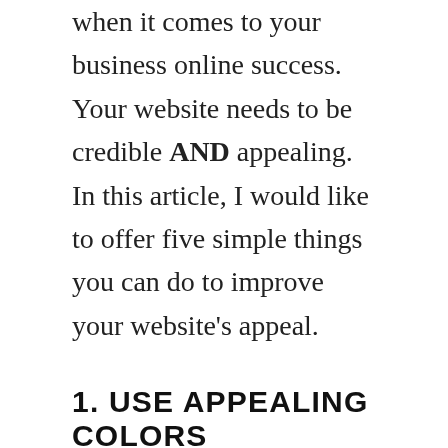when it comes to your business online success. Your website needs to be credible AND appealing. In this article, I would like to offer five simple things you can do to improve your website's appeal.
1. USE APPEALING COLORS
Generally, women are said to prefer the colors blue, green and purple. Men seem to prefer the colors blue,